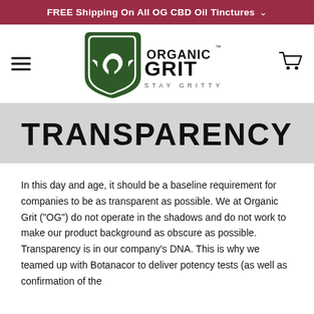FREE Shipping On All OG CBD Oil Tinctures
[Figure (logo): Organic Grit logo with green shield/eagle icon, text ORGANIC GRIT and tagline STAY GRITTY]
TRANSPARENCY
In this day and age, it should be a baseline requirement for companies to be as transparent as possible. We at Organic Grit ("OG") do not operate in the shadows and do not work to make our product background as obscure as possible. Transparency is in our company's DNA. This is why we teamed up with Botanacor to deliver potency tests (as well as confirmation of the